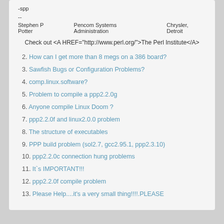-spp
--
Stephen P Potter    Pencom Systems Administration    Chrysler, Detroit
Check out <A HREF="http://www.perl.org/">The Perl Institute</A>
2. How can I get more than 8 megs on a 386 board?
3. Sawfish Bugs or Configuration Problems?
4. comp.linux.software?
5. Problem to compile a ppp2.2.0g
6. Anyone compile Linux Doom ?
7. ppp2.2.0f and linux2.0.0 problem
8. The structure of executables
9. PPP build problem (sol2.7, gcc2.95.1, ppp2.3.10)
10. ppp2.2.0c connection hung problems
11. It`s IMPORTANT!!!
12. ppp2.2.0f compile problem
13. Please Help....it's a very small thing!!!!.PLEASE